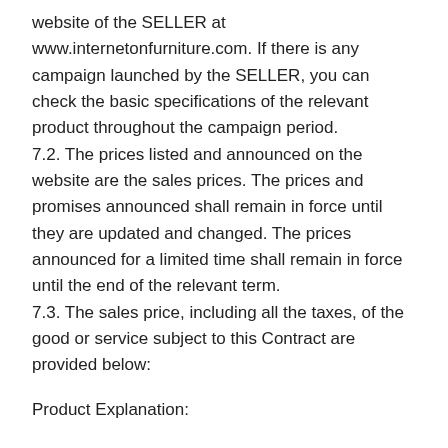website of the SELLER at www.internetonfurniture.com. If there is any campaign launched by the SELLER, you can check the basic specifications of the relevant product throughout the campaign period.
7.2. The prices listed and announced on the website are the sales prices. The prices and promises announced shall remain in force until they are updated and changed. The prices announced for a limited time shall remain in force until the end of the relevant term.
7.3. The sales price, including all the taxes, of the good or service subject to this Contract are provided below:
Product Explanation: